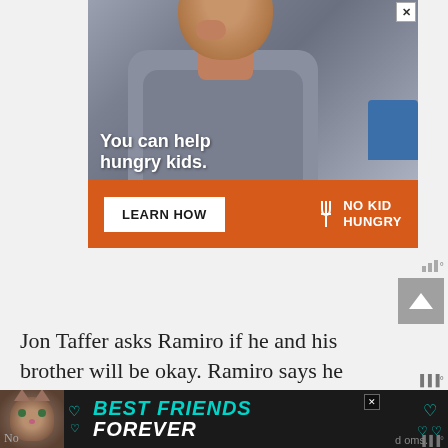[Figure (photo): Advertisement banner for No Kid Hungry charity. Shows a young boy eating food in a classroom. Text overlay reads 'You can help hungry kids.' with an orange bar below containing 'LEARN HOW' button and No Kid Hungry logo.]
Jon Taffer asks Ramiro if he and his brother will be okay. Ramiro says he thinks his brother needs some time.
[Figure (photo): Bottom advertisement banner with dark background, cat photo on left, teal and white text reading 'BEST FRIENDS FOREVER' with heart icons.]